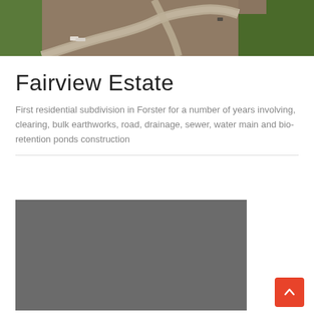[Figure (photo): Aerial drone photo of a residential subdivision construction site in Forster, showing cleared land, earthworks, and road construction in progress surrounded by green vegetation.]
Fairview Estate
First residential subdivision in Forster for a number of years involving, clearing, bulk earthworks, road, drainage, sewer, water main and bio-retention ponds construction
[Figure (photo): Photograph (appears dark/grey placeholder) showing construction work at the Fairview Estate site.]